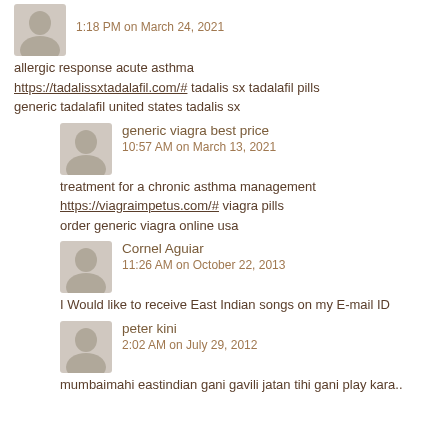1:18 PM on March 24, 2021
allergic response acute asthma https://tadalissxtadalafil.com/# tadalis sx tadalafil pills generic tadalafil united states tadalis sx
generic viagra best price
10:57 AM on March 13, 2021
treatment for a chronic asthma management https://viagraimpetus.com/# viagra pills order generic viagra online usa
Cornel Aguiar
11:26 AM on October 22, 2013
I Would like to receive East Indian songs on my E-mail ID
peter kini
2:02 AM on July 29, 2012
mumbaimahi eastindian gani gavili jatan tihi gani play kara..